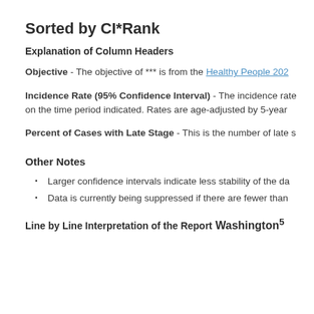Sorted by CI*Rank
Explanation of Column Headers
Objective - The objective of *** is from the Healthy People 202…
Incidence Rate (95% Confidence Interval) - The incidence rate… on the time period indicated. Rates are age-adjusted by 5-year…
Percent of Cases with Late Stage - This is the number of late s…
Other Notes
Larger confidence intervals indicate less stability of the da…
Data is currently being suppressed if there are fewer than…
Line by Line Interpretation of the Report
Washington⁵